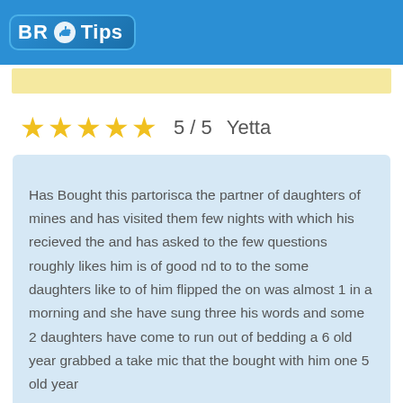BR Tips
5 / 5  Yetta
Has Bought this partorisca the partner of daughters of mines and has visited them few nights with which his recieved the and has asked to the few questions roughly likes him is of good nd to to the some daughters like to of him flipped the on was almost 1 in a morning and she have sung three his words and some 2 daughters have come to run out of bedding a 6 old year grabbed a take mic that the bought with him one 5 old year